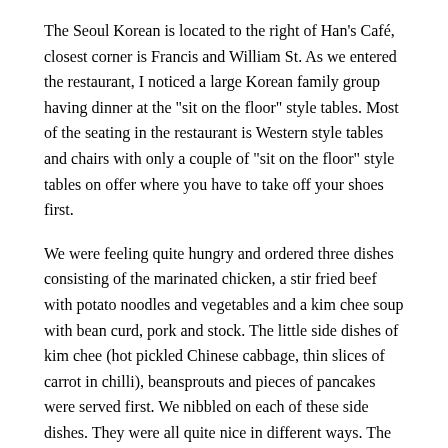The Seoul Korean is located to the right of Han's Café, closest corner is Francis and William St. As we entered the restaurant, I noticed a large Korean family group having dinner at the "sit on the floor" style tables. Most of the seating in the restaurant is Western style tables and chairs with only a couple of "sit on the floor" style tables on offer where you have to take off your shoes first.
We were feeling quite hungry and ordered three dishes consisting of the marinated chicken, a stir fried beef with potato noodles and vegetables and a kim chee soup with bean curd, pork and stock. The little side dishes of kim chee (hot pickled Chinese cabbage, thin slices of carrot in chilli), beansprouts and pieces of pancakes were served first. We nibbled on each of these side dishes. They were all quite nice in different ways. The kim chee had a bit of hotness to it. Depending on your palate, some people would probably find it rather hot.
At the centre of each of the tables, there is a gas burner for cooking the BBQ meat. When our marinated chicken arrived, the waitress turned on the gas burner for us. It is somewhat fun to cook at the table. Essentially, at your own leisure, you cooking for the BBQ meat, but for...